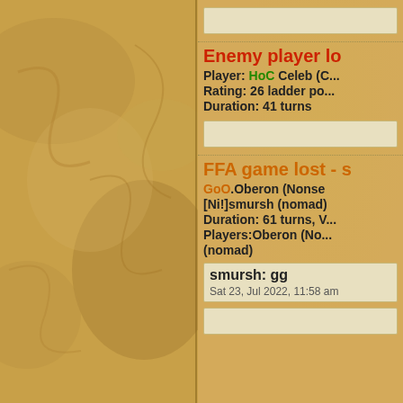[Figure (illustration): Left panel with ornate parchment/leather texture background in golden-brown tones]
Enemy player lo...
Player: HoC Celeb (C...
Rating: 26 ladder po...
Duration: 41 turns
FFA game lost - s...
GoO.Oberon (Nonse...
[Ni!]smursh (nomad)...
Duration: 61 turns, V...
Players:Oberon (Non... (nomad)
smursh: gg
Sat 23, Jul 2022, 11:58 am